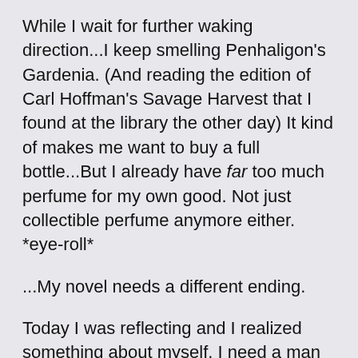While I wait for further waking direction...I keep smelling Penhaligon's Gardenia. (And reading the edition of Carl Hoffman's Savage Harvest that I found at the library the other day) It kind of makes me want to buy a full bottle...But I already have far too much perfume for my own good. Not just collectible perfume anymore either. *eye-roll*
...My novel needs a different ending.
Today I was reflecting and I realized something about myself. I need a man who knows how to catch me. ...And it's much more difficult than you'd think, for better and for worse.
I think men my age have always assumed I was easy or desperate because I'm so thoughtful and nice and clear about how I feel. I truly don't play games. ...But that's just the beginning of what I want to be with the people I love.